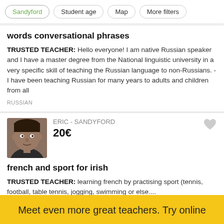Sandyford | Student age | Map | More filters
words conversational phrases
TRUSTED TEACHER: Hello everyone! I am native Russian speaker and I have a master degree from the National linguistic university in a very specific skill of teaching the Russian language to non-Russians. - I have been teaching Russian for many years to adults and children from all
RUSSIAN
ERIC - SANDYFORD
20€
french and sport for irish
TRUSTED TEACHER: learning french by practising sport (tennis, football, table tennis, jogging, swimming or else....
RACQUET SPORTS · SPORT PERSONAL TRAINER · FRENCH
Meet even more great teachers. Try online